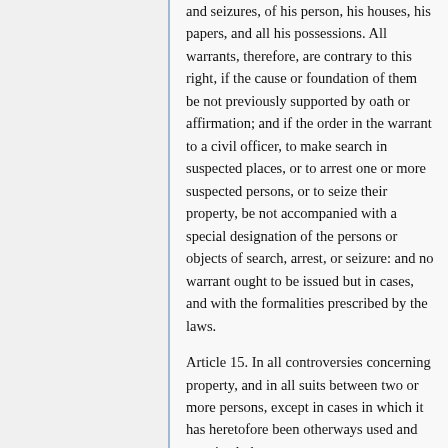and seizures, of his person, his houses, his papers, and all his possessions. All warrants, therefore, are contrary to this right, if the cause or foundation of them be not previously supported by oath or affirmation; and if the order in the warrant to a civil officer, to make search in suspected places, or to arrest one or more suspected persons, or to seize their property, be not accompanied with a special designation of the persons or objects of search, arrest, or seizure: and no warrant ought to be issued but in cases, and with the formalities prescribed by the laws.
Article 15. In all controversies concerning property, and in all suits between two or more persons, except in cases in which it has heretofore been otherways used and practiced, the